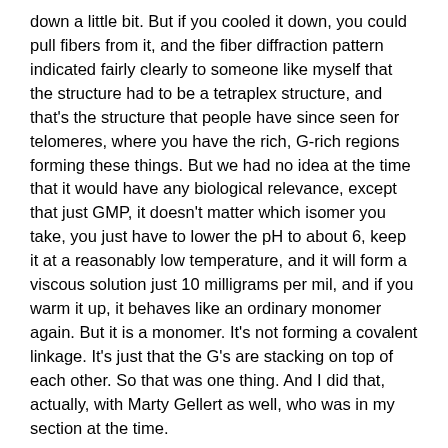down a little bit.  But if you cooled it down, you could pull fibers from it, and the fiber diffraction pattern indicated fairly clearly to someone like myself that the structure had to be a tetraplex structure, and that's the structure that people have since seen for telomeres, where you have the rich, G-rich regions forming these things.  But we had no idea at the time that it would have any biological relevance, except that just GMP, it doesn't matter which isomer you take, you just have to lower the pH to about 6, keep it at a reasonably low temperature, and it will form a viscous solution just 10 milligrams per mil, and if you warm it up, it behaves like an ordinary monomer again.  But it is a monomer.  It's not forming a covalent linkage.  It's just that the G's are stacking on top of each other.  So that was one thing.  And I did that, actually, with Marty Gellert as well, who was in my section at the time.
Park:                    How was the section composed of?  You as section chief.  And did you have postdoc fellows or other staff members?